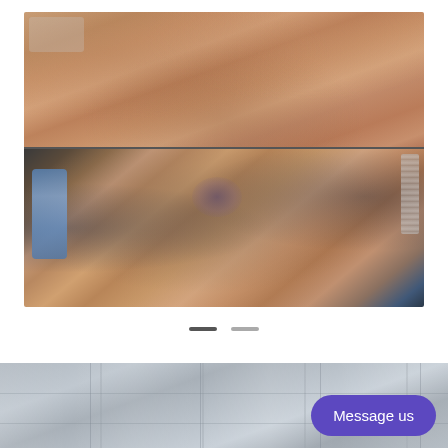[Figure (photo): Two clinical before-and-after photographs of a patient's neck/face area showing a skin lesion or cyst. The top image shows the side of the neck/face with visible skin texture. The bottom image shows the same area from a slightly different angle, featuring a visible lesion or cyst with surrounding skin folds and hair. A blue medical drape and dark stethoscope/accessory are visible.]
[Figure (photo): Partial view of a medical office or clinic interior showing a blurred background with structural panels and walls.]
Message us